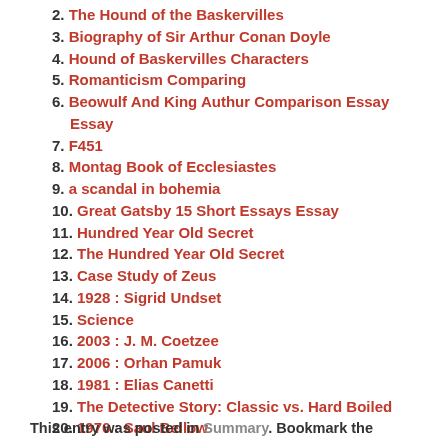2. The Hound of the Baskervilles
3. Biography of Sir Arthur Conan Doyle
4. Hound of Baskervilles Characters
5. Romanticism Comparing
6. Beowulf And King Authur Comparison Essay Essay
7. F451
8. Montag Book of Ecclesiastes
9. a scandal in bohemia
10. Great Gatsby 15 Short Essays Essay
11. Hundred Year Old Secret
12. The Hundred Year Old Secret
13. Case Study of Zeus
14. 1928 : Sigrid Undset
15. Science
16. 2003 : J. M. Coetzee
17. 2006 : Orhan Pamuk
18. 1981 : Elias Canetti
19. The Detective Story: Classic vs. Hard Boiled
20. 1976 : Saul Bellow
This entry was posted in Summary. Bookmark the